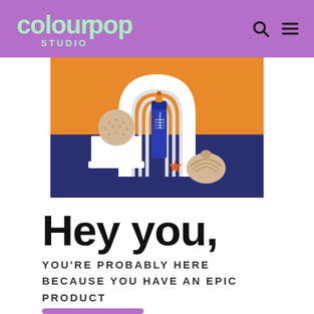ColourPop Studio — navigation header with search and menu icons
[Figure (photo): Product flat-lay photo showing a blue tube labeled SUNSLAYER on an orange and navy background, surrounded by decorative items including a white ribbed arch, a woven ball, a starfish, and a seashell]
Hey you,
YOU'RE PROBABLY HERE BECAUSE YOU HAVE AN EPIC PRODUCT